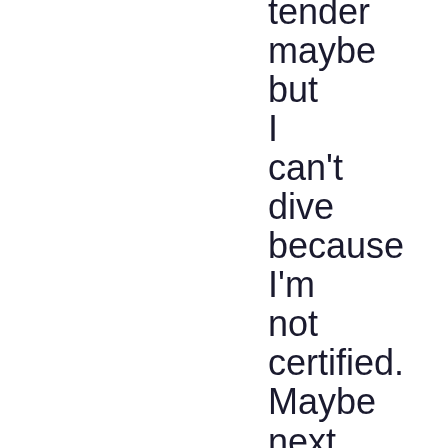tender maybe but I can't dive because I'm not certified. Maybe next year, though I don't think I can afford to take the class this year with the economy and all